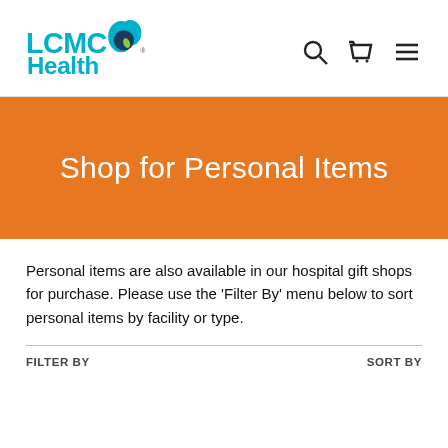LCMC Health
Shop for Personal Items
Personal items are also available in our hospital gift shops for purchase. Please use the 'Filter By' menu below to sort personal items by facility or type.